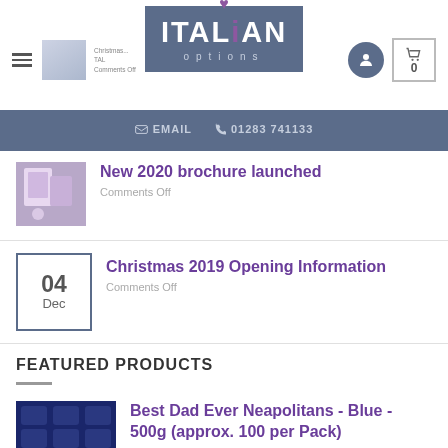[Figure (logo): Italian Options logo with heart icon, white text on blue-grey background]
[Figure (screenshot): Navigation bar with EMAIL and phone number 01283 741133 on blue-grey background]
[Figure (photo): Thumbnail image for New 2020 brochure launched blog post]
New 2020 brochure launched
Comments Off
04 Dec
Christmas 2019 Opening Information
Comments Off
FEATURED PRODUCTS
[Figure (photo): Best Dad Ever Neapolitans chocolates - blue packaging, 500g approx 100 per pack]
Best Dad Ever Neapolitans - Blue - 500g (approx. 100 per Pack)
Prices displayed for registered customers only
[Figure (photo): The Queen's Platinum Jubilee Neapolitans product thumbnail]
The Queen's Platinum Jubilee Neapolitans -